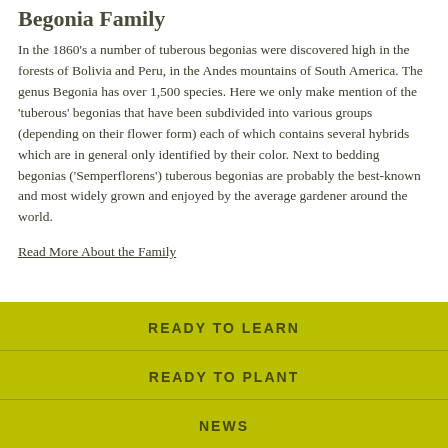Begonia Family
In the 1860's a number of tuberous begonias were discovered high in the forests of Bolivia and Peru, in the Andes mountains of South America. The genus Begonia has over 1,500 species. Here we only make mention of the 'tuberous' begonias that have been subdivided into various groups (depending on their flower form) each of which contains several hybrids which are in general only identified by their color. Next to bedding begonias ('Semperflorens') tuberous begonias are probably the best-known and most widely grown and enjoyed by the average gardener around the world.
Read More About the Family
READY TO LEARN
READY TO PLANT
NEWS